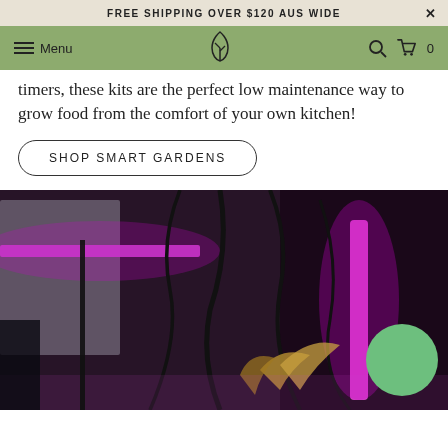FREE SHIPPING OVER $120 AUS WIDE
Menu
timers, these kits are the perfect low maintenance way to grow food from the comfort of your own kitchen!
SHOP SMART GARDENS
[Figure (photo): Indoor smart garden with pink/purple LED grow lights illuminating plants with black cables and tubing visible, window with outdoor greenery in background]